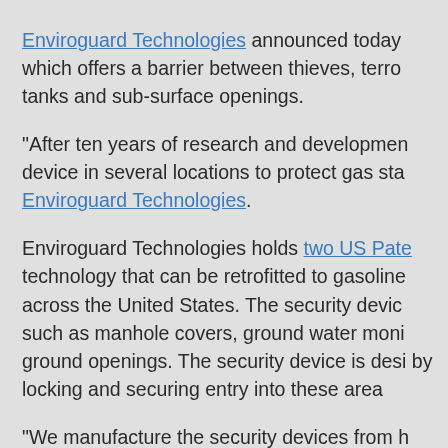Enviroguard Technologies announced today which offers a barrier between thieves, terro tanks and sub-surface openings.
“After ten years of research and developmen device in several locations to protect gas sta Enviroguard Technologies.
Enviroguard Technologies holds two US Pate technology that can be retrofitted to gasoline across the United States. The security devic such as manhole covers, ground water moni ground openings. The security device is desi by locking and securing entry into these area
“We manufacture the security devices from h order to provide varying levels of security. Lo application,” said Shawn Funderburk, Princip
The security devices, born out of anti-terroris attack on our nation’s groundwater supply